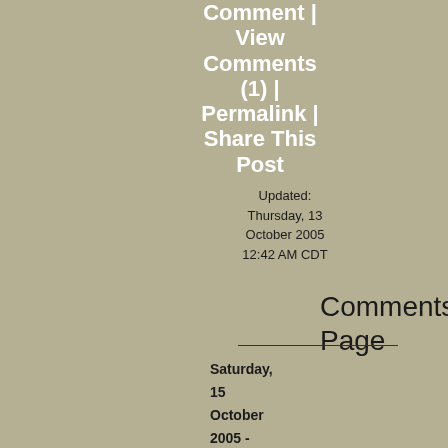Comment | View Comments (1) | Permalink | Share This Post
Updated: Thursday, 13 October 2005 12:42 AM CDT
Comments Page
Saturday, 15 October 2005 - 9:53